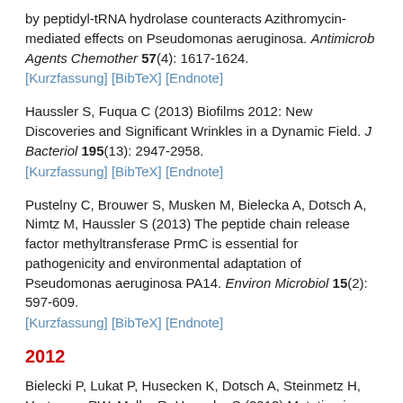by peptidyl-tRNA hydrolase counteracts Azithromycin-mediated effects on Pseudomonas aeruginosa. Antimicrob Agents Chemother 57(4): 1617-1624. [Kurzfassung] [BibTeX] [Endnote]
Haussler S, Fuqua C (2013) Biofilms 2012: New Discoveries and Significant Wrinkles in a Dynamic Field. J Bacteriol 195(13): 2947-2958. [Kurzfassung] [BibTeX] [Endnote]
Pustelny C, Brouwer S, Musken M, Bielecka A, Dotsch A, Nimtz M, Haussler S (2013) The peptide chain release factor methyltransferase PrmC is essential for pathogenicity and environmental adaptation of Pseudomonas aeruginosa PA14. Environ Microbiol 15(2): 597-609. [Kurzfassung] [BibTeX] [Endnote]
2012
Bielecki P, Lukat P, Husecken K, Dotsch A, Steinmetz H, Hartmann RW, Muller R, Haussler S (2012) Mutation in Elongation Factor G